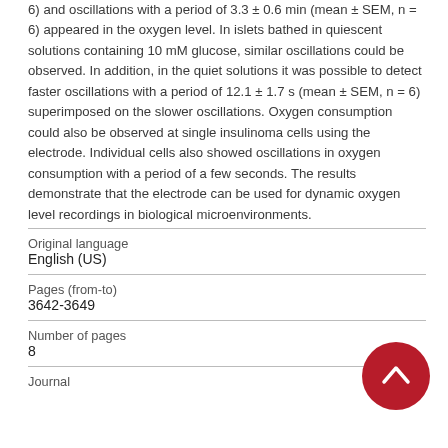6) and oscillations with a period of 3.3 ± 0.6 min (mean ± SEM, n = 6) appeared in the oxygen level. In islets bathed in quiescent solutions containing 10 mM glucose, similar oscillations could be observed. In addition, in the quiet solutions it was possible to detect faster oscillations with a period of 12.1 ± 1.7 s (mean ± SEM, n = 6) superimposed on the slower oscillations. Oxygen consumption could also be observed at single insulinoma cells using the electrode. Individual cells also showed oscillations in oxygen consumption with a period of a few seconds. The results demonstrate that the electrode can be used for dynamic oxygen level recordings in biological microenvironments.
| Field | Value |
| --- | --- |
| Original language | English (US) |
| Pages (from-to) | 3642-3649 |
| Number of pages | 8 |
| Journal |  |